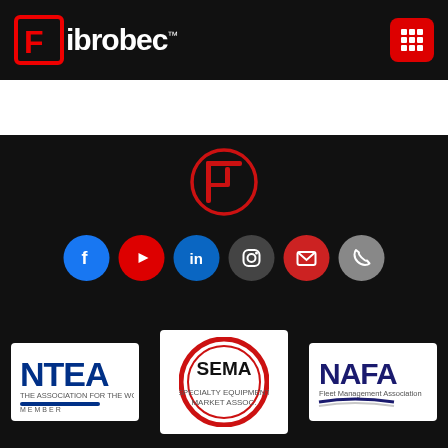[Figure (logo): Fibrobec logo in white on black header bar with red F icon and grid menu button]
[Figure (logo): Fibrobec circular red F logo centered on black background]
[Figure (infographic): Social media icons row: Facebook (blue), YouTube (red), LinkedIn (blue), Instagram (dark), Email (red), Phone (gray)]
[Figure (logo): NTEA - The Association for the Work Truck Industry Member logo on white background]
[Figure (logo): SEMA circular logo in red and black on white background]
[Figure (logo): NAFA Fleet Management Association logo on white background]